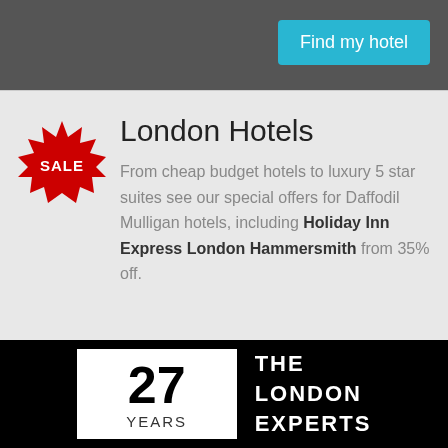Find my hotel
London Hotels
From cheap budget hotels to luxury 5 star suites see our special offers for Daffodil Mulligan hotels, including Holiday Inn Express London Hammersmith from 35% off.
[Figure (logo): Red starburst badge with SALE text in white]
27 YEARS THE LONDON EXPERTS